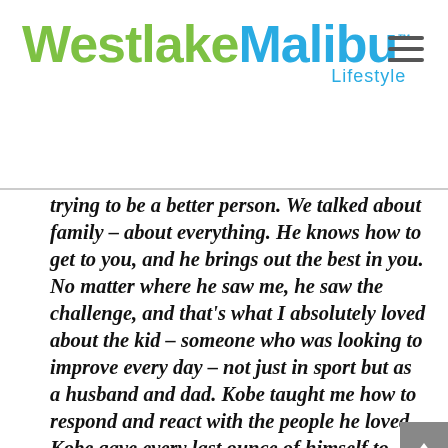WestlakeMalibu Lifestyle
trying to be a better person. We talked about family – about everything. He knows how to get to you, and he brings out the best in you. No matter where he saw me, he saw the challenge, and that's what I absolutely loved about the kid – someone who was looking to improve every day – not just in sport but as a husband and dad. Kobe taught me how to respond and react with the people he loved. Kobe gave every last ounce of himself to whatever he was doing. After basketball, he showed a creative side that I never knew he had. In retirement, he seemed so happy, he found new passions and he continued to give back as a coach and in his